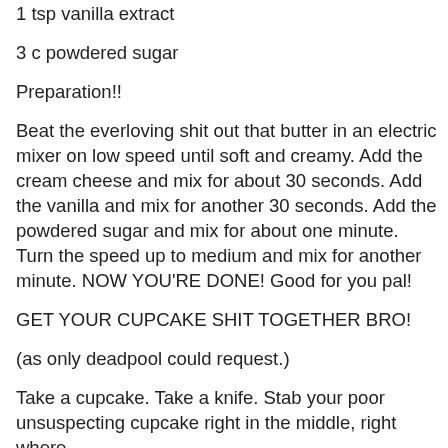1 tsp vanilla extract
3 c powdered sugar
Preparation!!
Beat the everloving shit out that butter in an electric mixer on low speed until soft and creamy. Add the cream cheese and mix for about 30 seconds. Add the vanilla and mix for another 30 seconds. Add the powdered sugar and mix for about one minute.  Turn the speed up to medium and mix for another minute. NOW YOU'RE DONE! Good for you pal!
GET YOUR CUPCAKE SHIT TOGETHER BRO!
(as only deadpool could request.)
Take a cupcake. Take a knife. Stab your poor unsuspecting cupcake right in the middle, right where